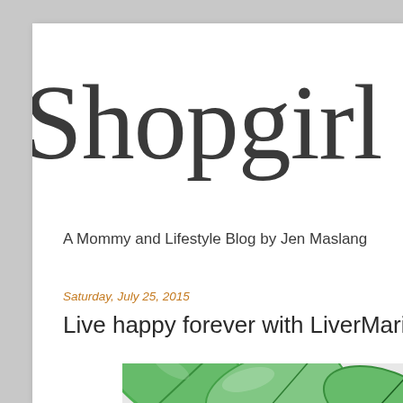Shopgirl J
A Mommy and Lifestyle Blog by Jen Maslang
Saturday, July 25, 2015
Live happy forever with LiverMarin
[Figure (photo): Green leaves photo, partially visible at bottom of page]